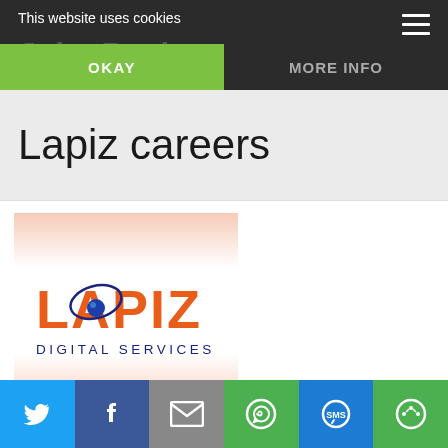This website uses cookies
OKAY
MORE INFO
Lapiz careers
[Figure (logo): Lapiz Digital Services logo — orange bold text 'LAPIZ' with a stylized 'A' containing a blue globe, and 'DIGITAL SERVICES' below in dark blue]
Social share bar: Twitter, Facebook, Email, WhatsApp, SMS, More